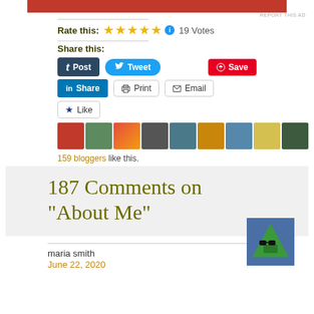[Figure (other): Red banner advertisement strip at top]
REPORT THIS AD
Rate this: ★★★★★ ℹ 19 Votes
Share this:
Post  Tweet  Save  Print  Email  Share
[Figure (other): Like button with star icon followed by a strip of 9 blogger avatar thumbnails]
159 bloggers like this.
187 Comments on "About Me"
maria smith
June 22, 2020
[Figure (illustration): User avatar: green triangle/robot icon with sunglasses on blue background]